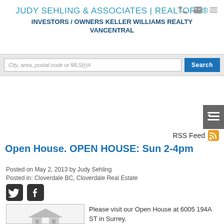JUDY SEHLING & ASSOCIATES | REALTORS®
INVESTORS / OWNERS KELLER WILLIAMS REALTY VANCENTRAL
[Figure (screenshot): Search bar with placeholder text 'City, area, postal code or MLS(r)#' and a blue Search button]
[Figure (other): Sidebar toggle button icon on right edge]
RSS Feed
Open House. OPEN HOUSE: Sun 2-4pm
Posted on May 2, 2013 by Judy Sehling
Posted in: Cloverdale BC, Cloverdale Real Estate
[Figure (other): Twitter and Facebook social share icons]
[Figure (photo): House thumbnail image placeholder with grey house icon]
Please visit our Open House at 6005 194A ST in Surrey.